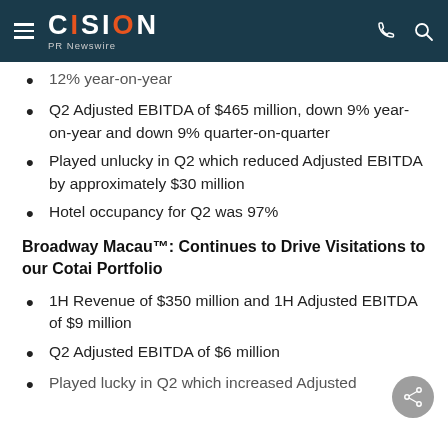CISION PR Newswire
12% year-on-year
Q2 Adjusted EBITDA of $465 million, down 9% year-on-year and down 9% quarter-on-quarter
Played unlucky in Q2 which reduced Adjusted EBITDA by approximately $30 million
Hotel occupancy for Q2 was 97%
Broadway Macau™: Continues to Drive Visitations to our Cotai Portfolio
1H Revenue of $350 million and 1H Adjusted EBITDA of $9 million
Q2 Adjusted EBITDA of $6 million
Played lucky in Q2 which increased Adjusted…